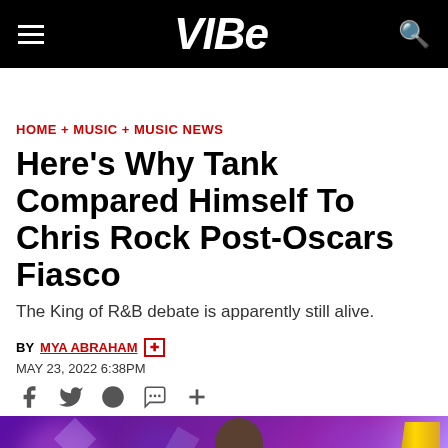VIBE
HOME + MUSIC + MUSIC NEWS
Here’s Why Tank Compared Himself To Chris Rock Post-Oscars Fiasco
The King of R&B debate is apparently still alive.
BY MYA ABRAHAM
MAY 23, 2022 6:38PM
[Figure (photo): Photo of a man (Tank) at an event with purple stage lighting in the background and a gold trophy/award visible on the right side.]